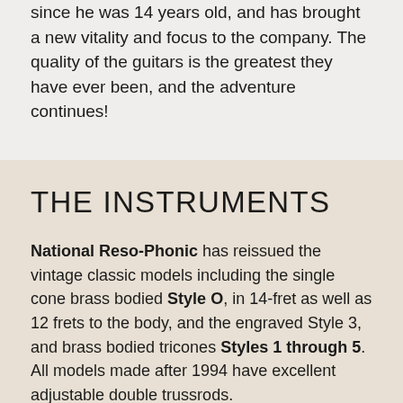since he was 14 years old, and has brought a new vitality and focus to the company. The quality of the guitars is the greatest they have ever been, and the adventure continues!
THE INSTRUMENTS
National Reso-Phonic has reissued the vintage classic models including the single cone brass bodied Style O, in 14-fret as well as 12 frets to the body, and the engraved Style 3, and brass bodied tricones Styles 1 through 5. All models made after 1994 have excellent adjustable double trussrods.